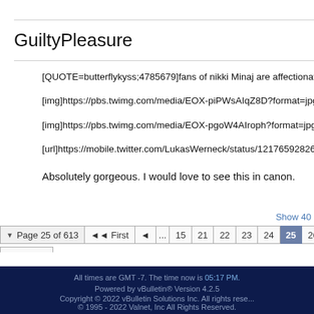GuiltyPleasure
[QUOTE=butterflykyss;4785679]fans of nikki Minaj are affectionately
[img]https://pbs.twimg.com/media/EOX-piPWsAIqZ8D?format=jpg&
[img]https://pbs.twimg.com/media/EOX-pgoW4AIroph?format=jpg&
[url]https://mobile.twitter.com/LukasWerneck/status/1217659282688
Absolutely gorgeous. I would love to see this in canon.
Page 25 of 613   First  ...  15  21  22  23  24  25  26  27  28  Last
All times are GMT -7. The time now is 05:17 PM.
Powered by vBulletin® Version 4.2.5
Copyright © 2022 vBulletin Solutions Inc. All rights reserved.
© 1995 - 2022 Valnet, Inc All Rights Reserved.